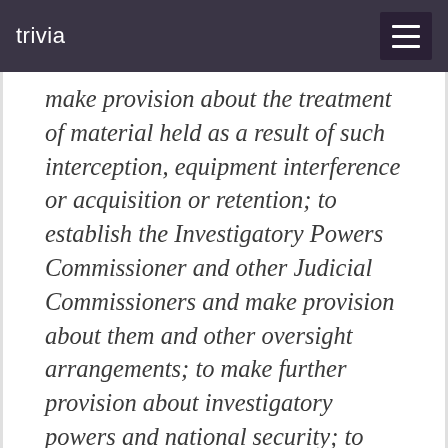trivia
make provision about the treatment of material held as a result of such interception, equipment interference or acquisition or retention; to establish the Investigatory Powers Commissioner and other Judicial Commissioners and make provision about them and other oversight arrangements; to make further provision about investigatory powers and national security; to amend sections 3 and 5 of the